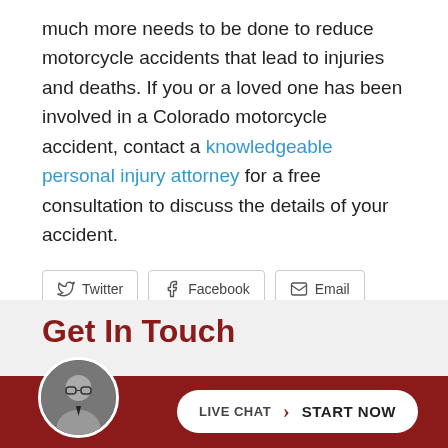much more needs to be done to reduce motorcycle accidents that lead to injuries and deaths. If you or a loved one has been involved in a Colorado motorcycle accident, contact a knowledgeable personal injury attorney for a free consultation to discuss the details of your accident.
[Figure (infographic): Social share buttons row: Twitter, Facebook, Email]
Get In Touch
[Figure (infographic): Live Chat Start Now button with attorney photo avatar on dark red footer bar]